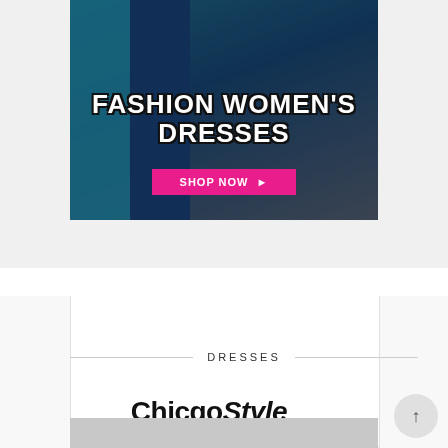[Figure (illustration): Fashion women's dresses advertisement banner with a woman holding a white handbag, wearing teal and navy striped outfit. Bold white text reads FASHION WOMEN'S DRESSES with a pink SHOP NOW button.]
DRESSES
[Figure (logo): ChicgoStyle brand logo in bold black italic font]